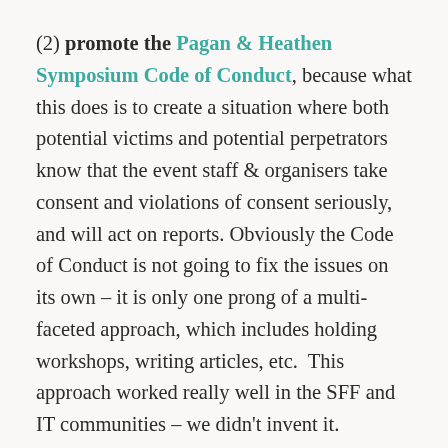(2) promote the Pagan & Heathen Symposium Code of Conduct, because what this does is to create a situation where both potential victims and potential perpetrators know that the event staff & organisers take consent and violations of consent seriously, and will act on reports. Obviously the Code of Conduct is not going to fix the issues on its own – it is only one prong of a multi-faceted approach, which includes holding workshops, writing articles, etc.  This approach worked really well in the SFF and IT communities – we didn't invent it.
(3) educate everyone about consent and what it means, as this will strengthen individuals' resistance to violations, and discourage